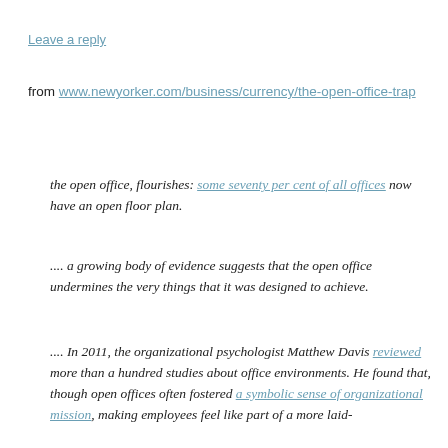Leave a reply
from www.newyorker.com/business/currency/the-open-office-trap
the open office, flourishes: some seventy per cent of all offices now have an open floor plan.
.... a growing body of evidence suggests that the open office undermines the very things that it was designed to achieve.
.... In 2011, the organizational psychologist Matthew Davis reviewed more than a hundred studies about office environments. He found that, though open offices often fostered a symbolic sense of organizational mission, making employees feel like part of a more laid-